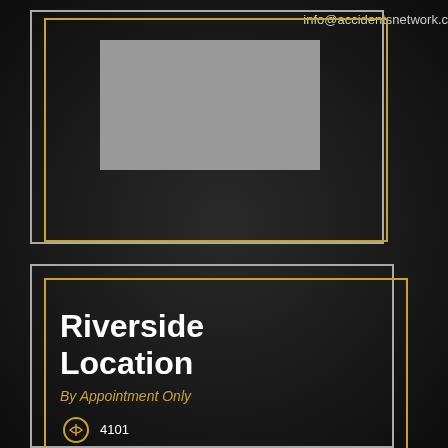info@accidentsnetwork.c
[Figure (illustration): Two nested decorative border rectangles (grey outer, gold inner) with a grey image placeholder rectangle inside, on a dark background.]
[Figure (illustration): Two nested decorative border rectangles (grey outer, gold inner) containing location information text on a dark background.]
Riverside Location
By Appointment Only
4101